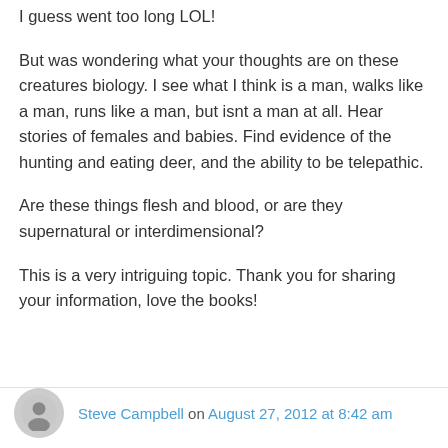I guess went too long LOL!
But was wondering what your thoughts are on these creatures biology. I see what I think is a man, walks like a man, runs like a man, but isnt a man at all. Hear stories of females and babies. Find evidence of the hunting and eating deer, and the ability to be telepathic.
Are these things flesh and blood, or are they supernatural or interdimensional?
This is a very intriguing topic. Thank you for sharing your information, love the books!
Steve Campbell on August 27, 2012 at 8:42 am